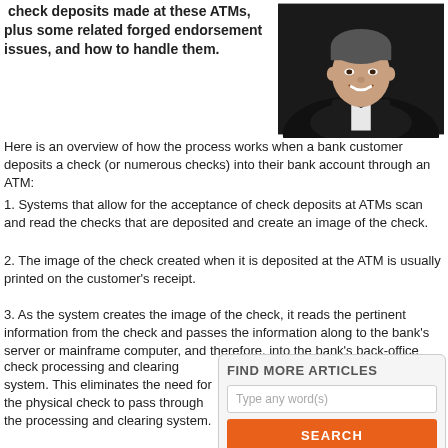check deposits made at these ATMs, plus some related forged endorsement issues, and how to handle them.
[Figure (photo): Headshot of a man in a tuxedo with a bow tie, smiling, dark background]
Here is an overview of how the process works when a bank customer deposits a check (or numerous checks) into their bank account through an ATM:
1. Systems that allow for the acceptance of check deposits at ATMs scan and read the checks that are deposited and create an image of the check.
2. The image of the check created when it is deposited at the ATM is usually printed on the customer's receipt.
3. As the system creates the image of the check, it reads the pertinent information from the check and passes the information along to the bank's server or mainframe computer, and therefore, into the bank's back-office check processing and clearing system. This eliminates the need for the physical check to pass through the processing and clearing system.
FIND MORE ARTICLES
Type any word(s)
SEARCH